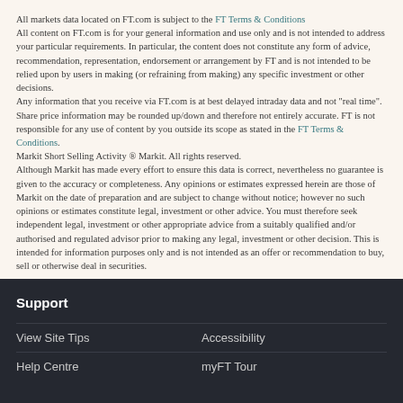All markets data located on FT.com is subject to the FT Terms & Conditions
All content on FT.com is for your general information and use only and is not intended to address your particular requirements. In particular, the content does not constitute any form of advice, recommendation, representation, endorsement or arrangement by FT and is not intended to be relied upon by users in making (or refraining from making) any specific investment or other decisions.
Any information that you receive via FT.com is at best delayed intraday data and not "real time". Share price information may be rounded up/down and therefore not entirely accurate. FT is not responsible for any use of content by you outside its scope as stated in the FT Terms & Conditions.
Markit Short Selling Activity ® Markit. All rights reserved.
Although Markit has made every effort to ensure this data is correct, nevertheless no guarantee is given to the accuracy or completeness. Any opinions or estimates expressed herein are those of Markit on the date of preparation and are subject to change without notice; however no such opinions or estimates constitute legal, investment or other advice. You must therefore seek independent legal, investment or other appropriate advice from a suitably qualified and/or authorised and regulated advisor prior to making any legal, investment or other decision. This is intended for information purposes only and is not intended as an offer or recommendation to buy, sell or otherwise deal in securities.
Support
View Site Tips
Accessibility
Help Centre
myFT Tour